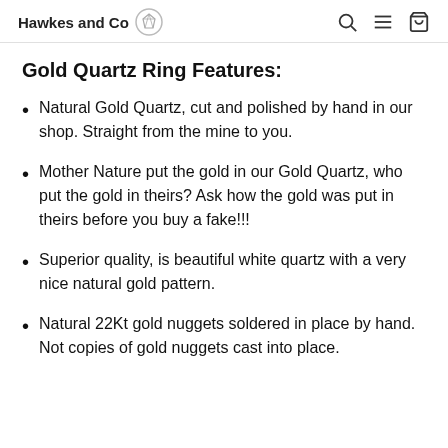Hawkes and Co
Gold Quartz Ring Features:
Natural Gold Quartz, cut and polished by hand in our shop. Straight from the mine to you.
Mother Nature put the gold in our Gold Quartz, who put the gold in theirs? Ask how the gold was put in theirs before you buy a fake!!!
Superior quality, is beautiful white quartz with a very nice natural gold pattern.
Natural 22Kt gold nuggets soldered in place by hand. Not copies of gold nuggets cast into place.